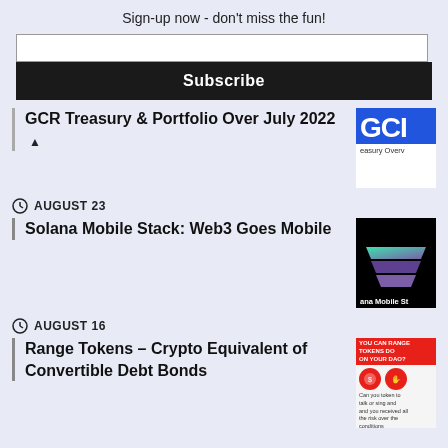Sign-up now - don't miss the fun!
Subscribe
GCR Treasury & Portfolio Over July 2022
AUGUST 23
Solana Mobile Stack: Web3 Goes Mobile
AUGUST 16
Range Tokens – Crypto Equivalent of Convertible Debt Bonds